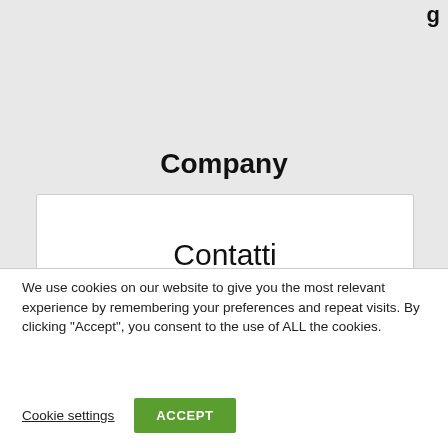g
Company
Contatti
We use cookies on our website to give you the most relevant experience by remembering your preferences and repeat visits. By clicking “Accept”, you consent to the use of ALL the cookies.
Cookie settings
ACCEPT